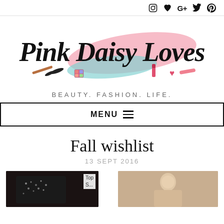Social icons: Instagram, Heart, Google+, Twitter, Pinterest
[Figure (logo): Pink Daisy Loves blog logo with script font text and colorful painted brush strokes (pink and blue/teal) with makeup illustrations (eyelashes, eyeshadow palette, lipstick, heart) around the text]
BEAUTY. FASHION. LIFE.
MENU
Fall wishlist
13 SEPT 2016
[Figure (photo): Thumbnail image of dark embellished top clothing item with 'Top S...' label]
[Figure (photo): Thumbnail image of a model/person, beige/tan tones]